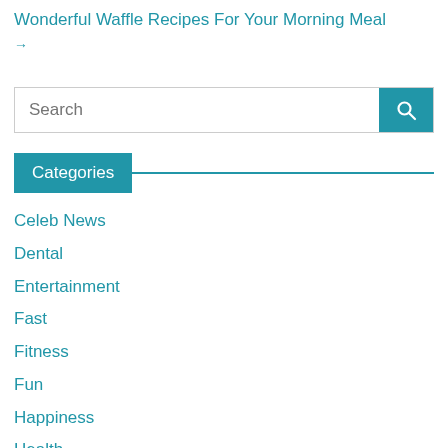Wonderful Waffle Recipes For Your Morning Meal
→
Search
Categories
Celeb News
Dental
Entertainment
Fast
Fitness
Fun
Happiness
Health